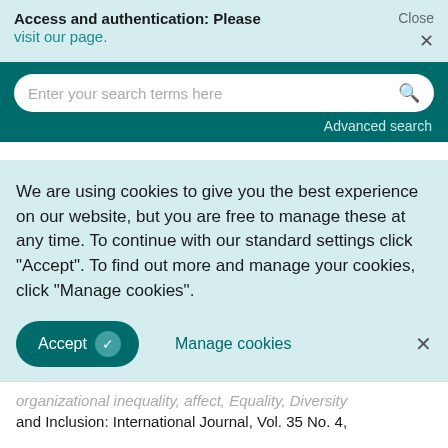Access and authentication: Please visit our page.
Enter your search terms here
Advanced search
We are using cookies to give you the best experience on our website, but you are free to manage these at any time. To continue with our standard settings click "Accept". To find out more and manage your cookies, click "Manage cookies".
Accept
Manage cookies
and Inclusion: International Journal, Vol. 35 No. 4,